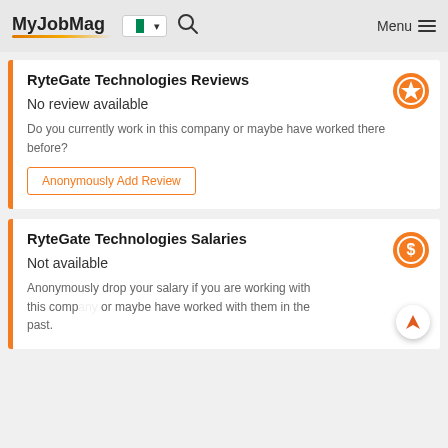MyJobMag — Menu
RyteGate Technologies Reviews
No review available
Do you currently work in this company or maybe have worked there before?
Anonymously Add Review
RyteGate Technologies Salaries
Not available
Anonymously drop your salary if you are working with this company or maybe have worked with them in the past.